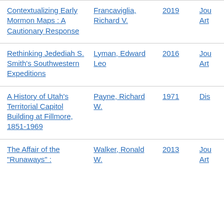| Title | Author | Year | Type |
| --- | --- | --- | --- |
| Contextualizing Early Mormon Maps : A Cautionary Response | Francaviglia, Richard V. | 2019 | Jou Art |
| Rethinking Jedediah S. Smith's Southwestern Expeditions | Lyman, Edward Leo | 2016 | Jou Art |
| A History of Utah's Territorial Capitol Building at Fillmore, 1851-1969 | Payne, Richard W. | 1971 | Dis |
| The Affair of the "Runaways" : ... | Walker, Ronald W. | 2013 | Jou Art |